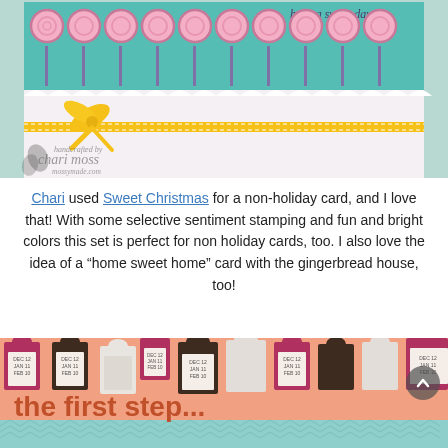[Figure (photo): Handmade greeting card with teal background, row of pink lollipop stamps, scallop border, white card layer, and yellow polka-dot ribbon tied in a bow. Watermark reads 'handcrafted by chari moss mossymade.com'.]
Chari used Sweet Christmas for a non-holiday card, and I love that! With some selective sentiment stamping and fun and bright colors this set is perfect for non holiday cards, too. I also love the idea of a “home sweet home” card with the gingerbread house, too!
[Figure (photo): Pattern of ink stamps in various colors (cranberry, dark brown, white) on a salmon/peach background. Each stamp shows date text: DEC 12, JAN 11, FEB 10. Below is a teal geometric pattern strip and 'the first step...' text overlay.]